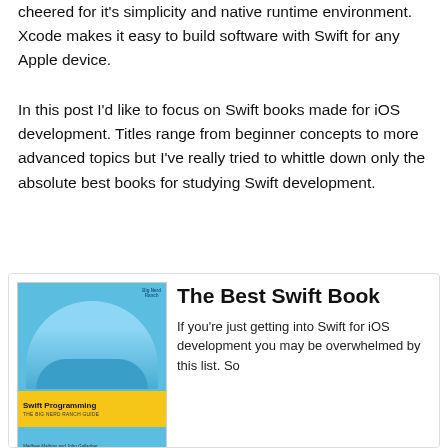cheered for it's simplicity and native runtime environment. Xcode makes it easy to build software with Swift for any Apple device.
In this post I'd like to focus on Swift books made for iOS development. Titles range from beginner concepts to more advanced topics but I've really tried to whittle down only the absolute best books for studying Swift development.
[Figure (illustration): Book cover for 'Swift Programming: The Big Nerd Ranch Guide' by Matthew Mathias and John Gallagher. Blue cover with a dome/stadium image, yellow band with title text.]
The Best Swift Book
If you're just getting into Swift for iOS development you may be overwhelmed by this list. So